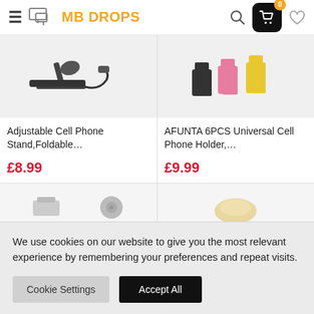MB DROPS — navigation header with hamburger menu, logo, search, cart (0), and wishlist icons
[Figure (photo): Product image of Adjustable Cell Phone Stand, foldable, black, with cable, on grey background]
Adjustable Cell Phone Stand,Foldable…
£8.99
[Figure (photo): Product image of AFUNTA 6PCS Universal Cell Phone Holder in pink, black and yellow colors on grey background]
AFUNTA 6PCS Universal Cell Phone Holder,…
£9.99
[Figure (photo): Partial product images in second row, cut off at bottom]
We use cookies on our website to give you the most relevant experience by remembering your preferences and repeat visits.
Cookie Settings    Accept All